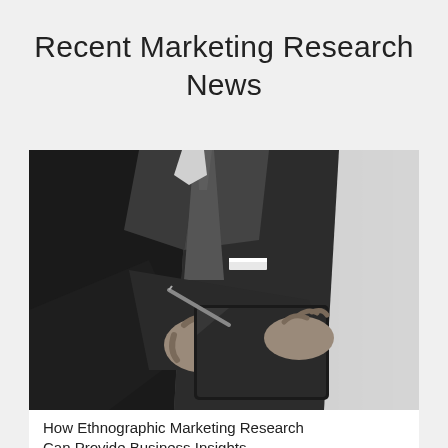Recent Marketing Research News
[Figure (photo): Black and white photo of a businessman in a dark suit and tie, holding a tablet and writing on it with a stylus, torso/headless view]
How Ethnographic Marketing Research Can Provide Business Insights